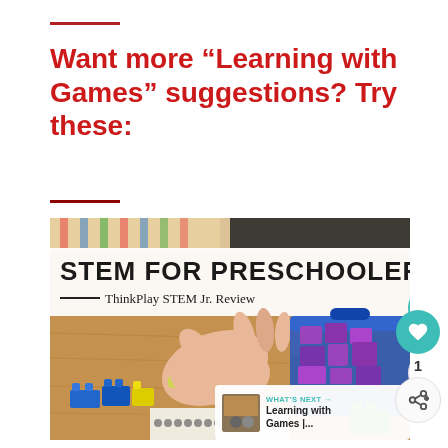Want more “Learning with Games” suggestions? Try these:
[Figure (photo): Photo of a child's hand playing with colorful LEGO-style building blocks on a table, with a blue bin of purple blocks nearby. Text overlay reads 'STEM FOR PRESCHOOLERS' and 'ThinkPlay STEM Jr. Review']
WHAT'S NEXT → Learning with Games |...